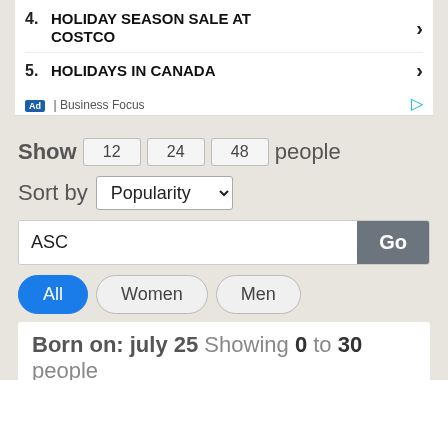4. HOLIDAY SEASON SALE AT COSTCO
5. HOLIDAYS IN CANADA
Ad | Business Focus
Show 12 24 48 people
Sort by Popularity
ASC
All Women Men
Born on: july 25 Showing 0 to 30 people